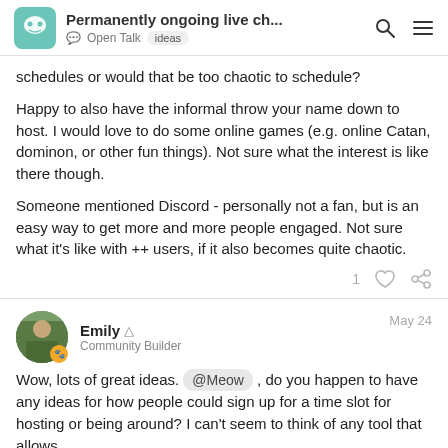Permanently ongoing live ch... | Open Talk | ideas
schedules or would that be too chaotic to schedule?

Happy to also have the informal throw your name down to host. I would love to do some online games (e.g. online Catan, dominon, or other fun things). Not sure what the interest is like there though.

Someone mentioned Discord - personally not a fan, but is an easy way to get more and more people engaged. Not sure what it’s like with ++ users, if it also becomes quite chaotic.
1
Emily ◡ Community Builder | May 24
Wow, lots of great ideas. @Meow , do you happen to have any ideas for how people could sign up for a time slot for hosting or being around? I can’t seem to think of any tool that allows